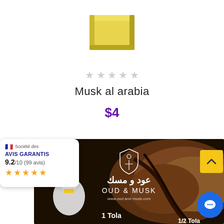[Figure (photo): Yellow wax or soap block product photo on white background]
★ ★ ★ ★ ★ (empty/grey stars rating row)
Musk al arabia
$4
[Figure (photo): Oud & Musk brand banner image showing Arabic text عود و مسك, OUD & MUSK logo, a perfume bottle, wood resin chunks, and product size labels 1 Tola and 1/2 Tola on dark background]
Société des AVIS GARANTIS 9.2/10 (99 avis)